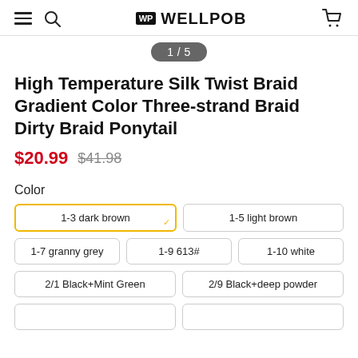WP WELLPOB
1 / 5
High Temperature Silk Twist Braid Gradient Color Three-strand Braid Dirty Braid Ponytail
$20.99  $41.98
Color
1-3 dark brown (selected)
1-5 light brown
1-7 granny grey
1-9 613#
1-10 white
2/1 Black+Mint Green
2/9 Black+deep powder
(partial row)